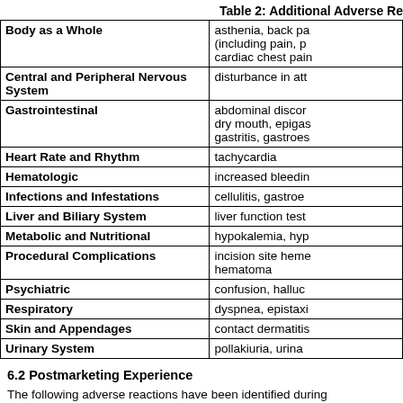Table 2: Additional Adverse Re
| Body System | Adverse Reactions |
| --- | --- |
| Body as a Whole | asthenia, back pa (including pain, p cardiac chest pain |
| Central and Peripheral Nervous System | disturbance in att |
| Gastrointestinal | abdominal discor dry mouth, epigas gastritis, gastroes |
| Heart Rate and Rhythm | tachycardia |
| Hematologic | increased bleedin |
| Infections and Infestations | cellulitis, gastroe |
| Liver and Biliary System | liver function test |
| Metabolic and Nutritional | hypokalemia, hyp |
| Procedural Complications | incision site heme hematoma |
| Psychiatric | confusion, halluc |
| Respiratory | dyspnea, epistaxi |
| Skin and Appendages | contact dermatitis |
| Urinary System | pollakiuria, urina |
6.2 Postmarketing Experience
The following adverse reactions have been identified during